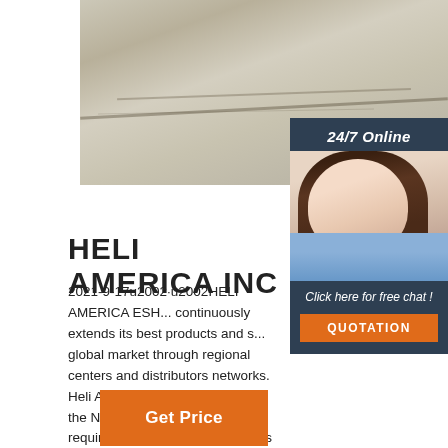[Figure (photo): Concrete or stone floor texture photo, gray-beige tones with visible cracks and surface marks]
[Figure (infographic): 24/7 Online chat widget with dark blue background, photo of smiling woman with headset, 'Click here for free chat!' text and orange QUOTATION button]
HELI AMERICA INC
2021-9-17u2002·u2002HELI AMERICA ESH... continuously extends its best products and s... global market through regional centers and distributors networks. Heli America Inc. is co... to meet the North American market requirements. Meet all your needs for forklift products. Learn more.
Get Price